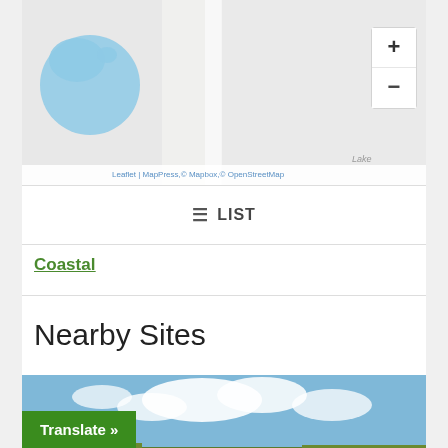[Figure (map): Interactive map showing coastal area with water bodies in blue, roads in white/gray, with zoom +/- controls and attribution bar showing Leaflet, MapPress, Mapbox, OpenStreetMap]
☰ LIST
Coastal
Nearby Sites
[Figure (photo): Coastal wetland landscape with a wooden dock/pier extending into calm water, marsh grass in background, blue sky with white clouds]
Translate »